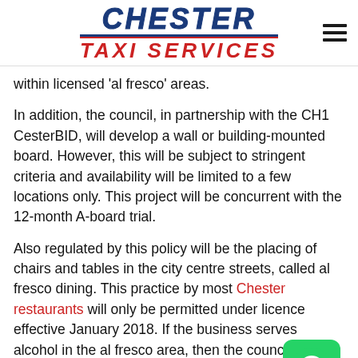[Figure (logo): Chester Taxi Services logo with blue italic CHESTER text, red horizontal lines, and red italic TAXI SERVICES text]
within licensed 'al fresco' areas.
In addition, the council, in partnership with the CH1 CesterBID, will develop a wall or building-mounted board. However, this will be subject to stringent criteria and availability will be limited to a few locations only. This project will be concurrent with the 12-month A-board trial.
Also regulated by this policy will be the placing of chairs and tables in the city centre streets, called al fresco dining. This practice by most Chester restaurants will only be permitted under licence effective January 2018. If the business serves alcohol in the al fresco area, then the council will ame business' premises licence.
[Figure (logo): WhatsApp green button icon in bottom right corner]